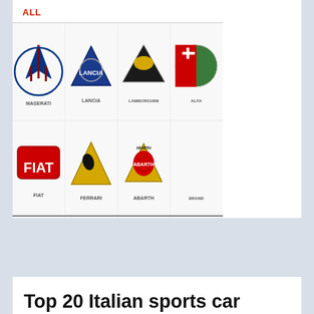ALL
[Figure (photo): Grid of Italian car brand logos: Maserati, Lancia, Lamborghini, Alfa Romeo (top row); Fiat, Ferrari, Abarth, and another brand (bottom row)]
Top 20 Italian sports car brands
Jan 22, 2021
ALL